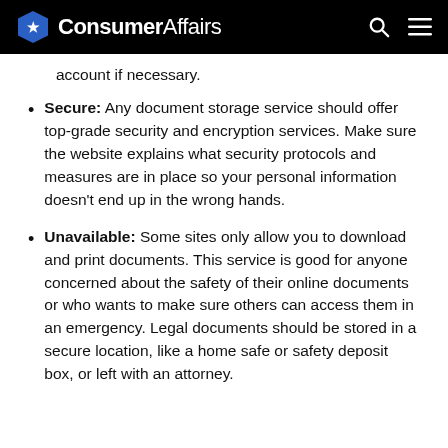ConsumerAffairs
account if necessary.
Secure: Any document storage service should offer top-grade security and encryption services. Make sure the website explains what security protocols and measures are in place so your personal information doesn't end up in the wrong hands.
Unavailable: Some sites only allow you to download and print documents. This service is good for anyone concerned about the safety of their online documents or who wants to make sure others can access them in an emergency. Legal documents should be stored in a secure location, like a home safe or safety deposit box, or left with an attorney.